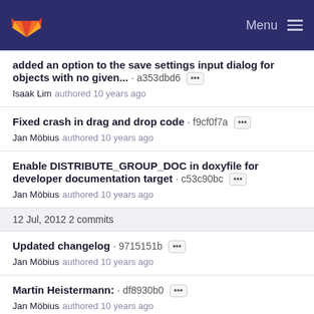Menu
added an option to the save settings input dialog for objects with no given... · a353dbd6 ··· Isaak Lim authored 10 years ago
Fixed crash in drag and drop code · f9cf0f7a ··· Jan Möbius authored 10 years ago
Enable DISTRIBUTE_GROUP_DOC in doxyfile for developer documentation target · c53c90bc ··· Jan Möbius authored 10 years ago
12 Jul, 2012 2 commits
Updated changelog · 9715151b ··· Jan Möbius authored 10 years ago
Martin Heistermann: · df8930b0 ··· Jan Möbius authored 10 years ago